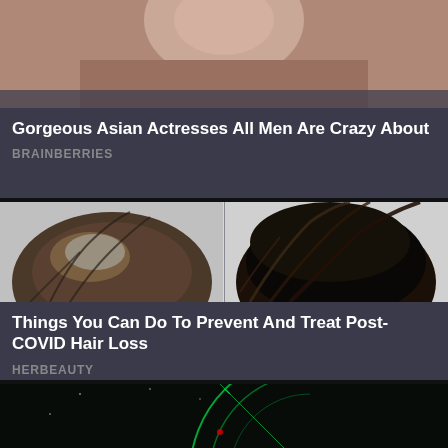[Figure (photo): Close-up photo of an Asian woman's face, cropped to show lower half, slightly blurred]
Gorgeous Asian Actresses All Men Are Crazy About
BRAINBERRIES
[Figure (photo): Split before/after photo showing hair loss on the left side and fuller hair on the right side, top-down view of a person's head]
Things You Can Do To Prevent And Treat Post-COVID Hair Loss
HERBEAUTY
[Figure (photo): Dark image showing a green radar/sonar display with arc patterns, partially visible]